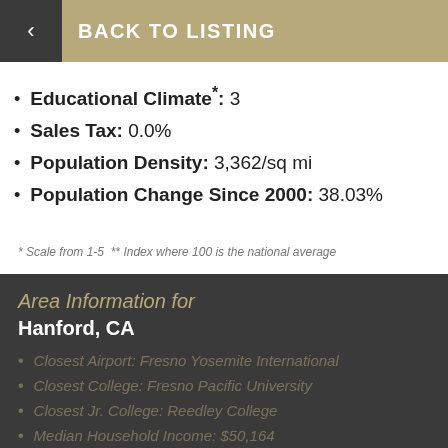BACK TO LISTING
Educational Climate*: 3
Sales Tax: 0.0%
Population Density: 3,362/sq mi
Population Change Since 2000: 38.03%
* Scale from 1-5  ** Index where 100 is the national average
Area Information for
Hanford, CA
Closest Airport: Fresno Yosemite International
Closest College: Fresno Pacific University
Closest Jr. College: Reedley College
Median Household Income: $50,164